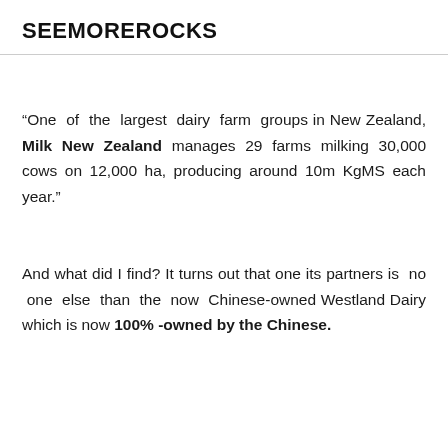SEEMOREROCKS
“One of the largest dairy farm groups in New Zealand, Milk New Zealand manages 29 farms milking 30,000 cows on 12,000 ha, producing around 10m KgMS each year.”
And what did I find? It turns out that one its partners is no one else than the now Chinese-owned Westland Dairy which is now 100% -owned by the Chinese.